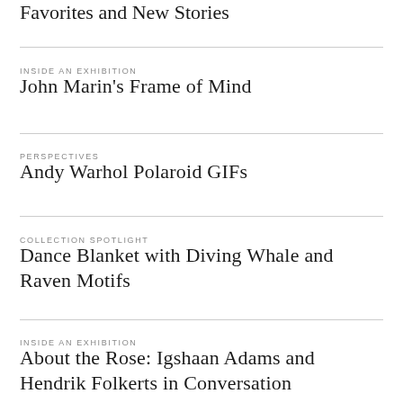Favorites and New Stories
INSIDE AN EXHIBITION
John Marin's Frame of Mind
PERSPECTIVES
Andy Warhol Polaroid GIFs
COLLECTION SPOTLIGHT
Dance Blanket with Diving Whale and Raven Motifs
INSIDE AN EXHIBITION
About the Rose: Igshaan Adams and Hendrik Folkerts in Conversation